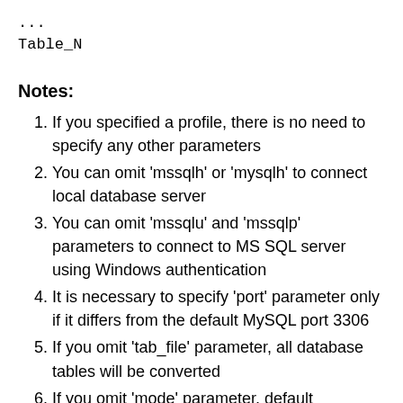...
Table_N
Notes:
If you specified a profile, there is no need to specify any other parameters
You can omit 'mssqlh' or 'mysqlh' to connect local database server
You can omit 'mssqlu' and 'mssqlp' parameters to connect to MS SQL server using Windows authentication
It is necessary to specify 'port' parameter only if it differs from the default MySQL port 3306
If you omit 'tab_file' parameter, all database tables will be converted
If you omit 'mode' parameter, default